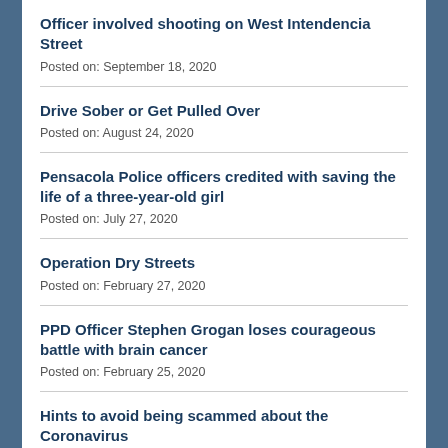Officer involved shooting on West Intendencia Street
Posted on: September 18, 2020
Drive Sober or Get Pulled Over
Posted on: August 24, 2020
Pensacola Police officers credited with saving the life of a three-year-old girl
Posted on: July 27, 2020
Operation Dry Streets
Posted on: February 27, 2020
PPD Officer Stephen Grogan loses courageous battle with brain cancer
Posted on: February 25, 2020
Hints to avoid being scammed about the Coronavirus
Posted on: February 25, 2020